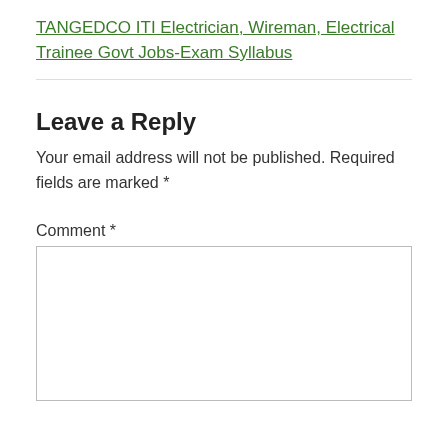TANGEDCO ITI Electrician, Wireman, Electrical Trainee Govt Jobs-Exam Syllabus
Leave a Reply
Your email address will not be published. Required fields are marked *
Comment *